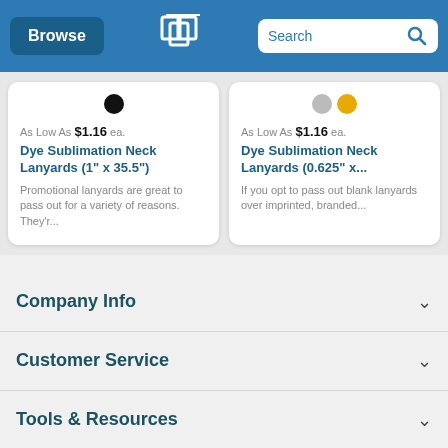Browse | [Logo] | Search
[Figure (screenshot): Product card: Dye Sublimation Neck Lanyards (1" x 35.5") with black color dot, price As Low As $1.16 ea., description: Promotional lanyards are great to pass out for a variety of reasons. They'r...]
[Figure (screenshot): Product card: Dye Sublimation Neck Lanyards (0.625" x...) with gray and gold color dots, price As Low As $1.16 ea., description: If you opt to pass out blank lanyards over imprinted, branded...]
Company Info
Customer Service
Tools & Resources